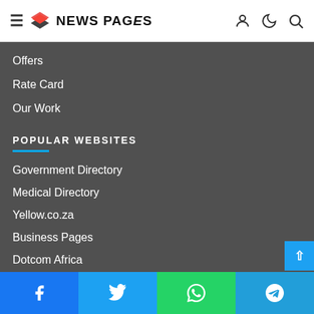NEWS PAGES
Offers
Rate Card
Our Work
POPULAR WEBSITES
Government Directory
Medical Directory
Yellow.co.za
Business Pages
Dotcom Africa
Dot Com Holdings
Facebook  Twitter  WhatsApp  Telegram